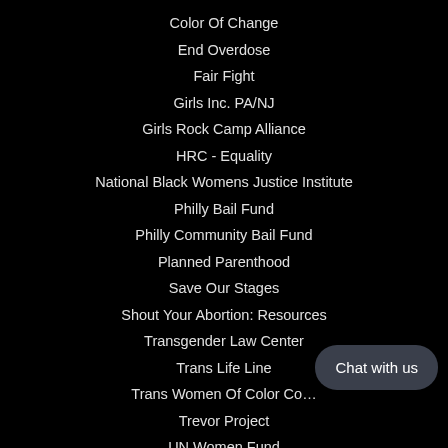Color Of Change
End Overdose
Fair Fight
Girls Inc. PA/NJ
Girls Rock Camp Alliance
HRC - Equality
National Black Womens Justice Institute
Philly Bail Fund
Philly Community Bail Fund
Planned Parenthood
Save Our Stages
Shout Your Abortion: Resources
Transgender Law Center
Trans Life Line
Trans Women Of Color Co…
Trevor Project
UN Women Fund